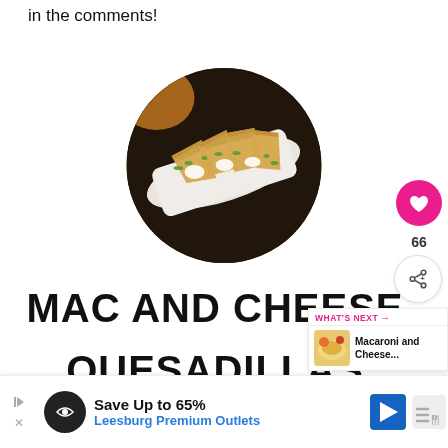in the comments!
[Figure (photo): Circular cropped photo of mac and cheese quesadillas sliced into wedges on a white rectangular plate, garnished with green onions and sour cream, on a dark wooden surface]
MAC AND CHEESE
QUESADILLAS RECIPE
[Figure (infographic): WHAT'S NEXT panel showing a thumbnail of Macaroni and Cheese... with pink header and arrow]
[Figure (infographic): Advertisement banner: Save Up to 65% Leesburg Premium Outlets with logo circle and navigation icon]